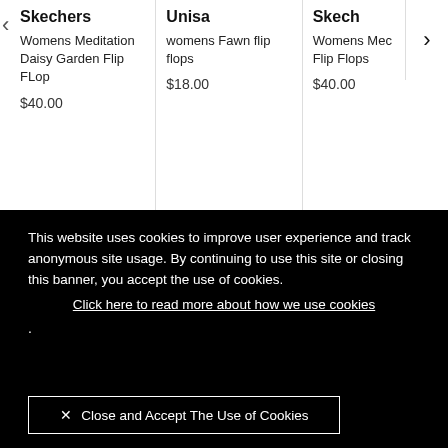Skechers
Womens Meditation Daisy Garden Flip FLop
$40.00
Unisa
womens Fawn flip flops
$18.00
Skech
Womens Med Flip Flops
$40.00
This website uses cookies to improve user experience and track anonymous site usage. By continuing to use this site or closing this banner, you accept the use of cookies.
Click here to read more about how we use cookies
.
× Close and Accept The Use of Cookies